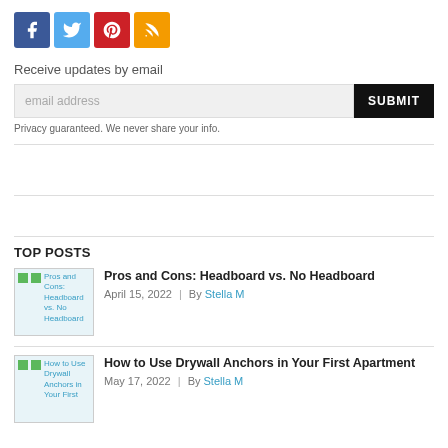[Figure (infographic): Social media icons: Facebook (blue), Twitter (light blue), Pinterest (red), RSS (orange)]
Receive updates by email
email address   SUBMIT
Privacy guaranteed. We never share your info.
TOP POSTS
Pros and Cons: Headboard vs. No Headboard
April 15, 2022 | By Stella M
How to Use Drywall Anchors in Your First Apartment
May 17, 2022 | By Stella M